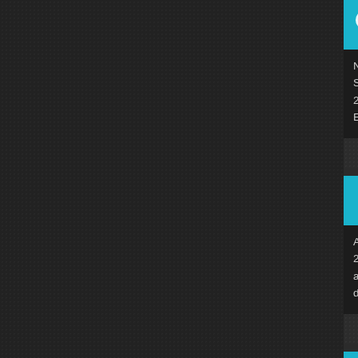[Figure (screenshot): Screenshot of a search results page with dark background. Shows three result cards with colored icons. First card: SlideShare icon (blue/teal with butterfly logo), title 'David Bausmith Experience Synopsis SlideShare', snippet 'Nov 2, 2012 - David Bausmith Experience Synopsis. 1. Experience Synopsis; 2. C... 2012 - presentProject Manager/Seni... Environmental Engineer, ...' Second card: Link icon (blue chain link), title 'Think driving stress is ruining... Apparently it is.', snippet 'Aug 22, 2014 - David Bausmith // Au... 2014 at 2:36 pm // Reply. Thank you f... another reason why a "good job" is n... dependent upon salary, ...' Third card: Vimeo icon (blue V), title 'David Bausmith on Vimeo'. The left ~430px of the 448px wide view is a dark textured sidebar.]
David Bausmith Experience Synopsis SlideShare
Nov 2, 2012 - David Bausmith Experience Synopsis. 1. Experience Synopsis; 2. C... 2012 - presentProject Manager/Seni... Environmental Engineer, ...
Think driving stress is ruining... Apparently it is.
Aug 22, 2014 - David Bausmith // Au... 2014 at 2:36 pm // Reply. Thank you f... another reason why a "good job" is n... dependent upon salary, ...
David Bausmith on Vimeo